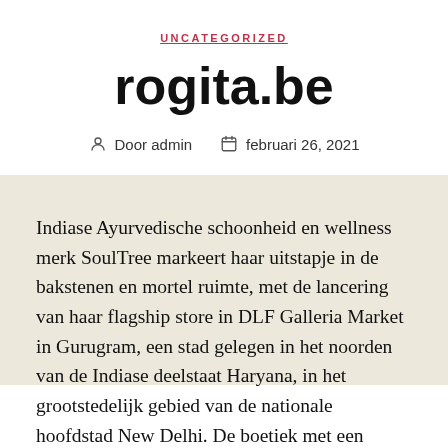UNCATEGORIZED
rogita.be
Door admin   februari 26, 2021
Indiase Ayurvedische schoonheid en wellness merk SoulTree markeert haar uitstapje in de bakstenen en mortel ruimte, met de lancering van haar flagship store in DLF Galleria Market in Gurugram, een stad gelegen in het noorden van de Indiase deelstaat Haryana, in het grootstedelijk gebied van de nationale hoofdstad New Delhi. De boetiek met een oppervlakte van 600 m² ligt in het winkelgebied van de stad en biedt klanten de kans